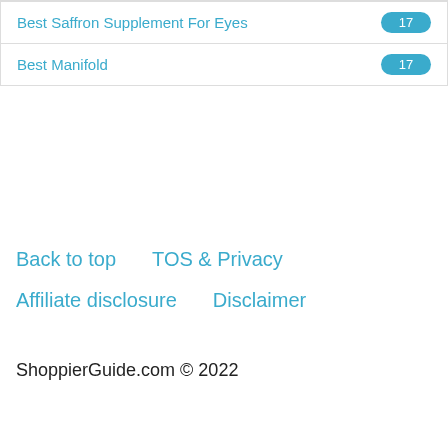Best Saffron Supplement For Eyes  17
Best Manifold  17
Back to top    TOS & Privacy
Affiliate disclosure    Disclaimer
ShoppierGuide.com © 2022